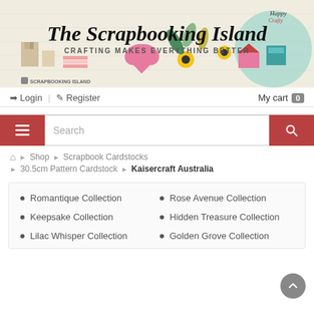[Figure (illustration): The Scrapbooking Island banner with crafting supplies decorations. Text reads 'The Scrapbooking Island' and 'CRAFTING MAKES EVERYTHING BETTER'. Instagram handle 'SCRAPBOOKING ISLAND' shown at bottom left.]
Login | Register    My cart 0
[Figure (other): Search bar with hamburger menu button on left, search input in middle, and search icon button on right. Buttons are dark red/crimson color.]
Home › Shop › Scrapbook Cardstocks › 30.5cm Pattern Cardstock › Kaisercraft Australia
Romantique Collection
Rose Avenue Collection
Keepsake Collection
Hidden Treasure Collection
Lilac Whisper Collection
Golden Grove Collection